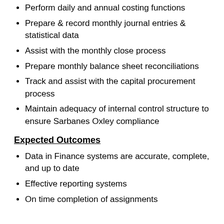Perform daily and annual costing functions
Prepare & record monthly journal entries & statistical data
Assist with the monthly close process
Prepare monthly balance sheet reconciliations
Track and assist with the capital procurement process
Maintain adequacy of internal control structure to ensure Sarbanes Oxley compliance
Expected Outcomes
Data in Finance systems are accurate, complete, and up to date
Effective reporting systems
On time completion of assignments